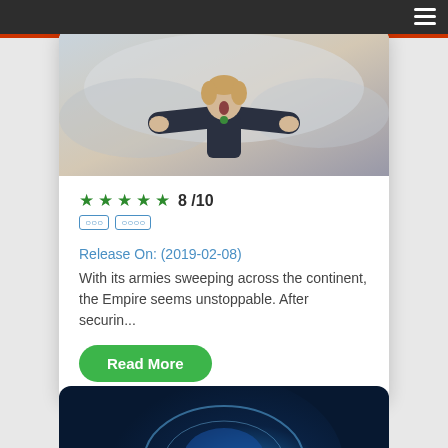☰ (hamburger menu icon)
[Figure (illustration): Artwork showing a figure with arms outstretched against a light background, appearing to be an anime or painted illustration with muted blue-grey and beige tones.]
★★★★★ 8 /10
○○○ ○○○○
Release On: (2019-02-08)
With its armies sweeping across the continent, the Empire seems unstoppable. After securin...
Read More
[Figure (illustration): Partial view of a second card image showing a blue glowing circular/planetary design against a dark background.]